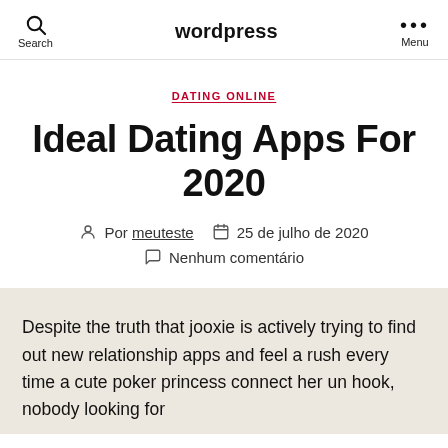wordpress
DATING ONLINE
Ideal Dating Apps For 2020
Por meuteste   25 de julho de 2020
Nenhum comentário
Despite the truth that jooxie is actively trying to find out new relationship apps and feel a rush every time a cute poker princess connect her un hook, nobody looking for